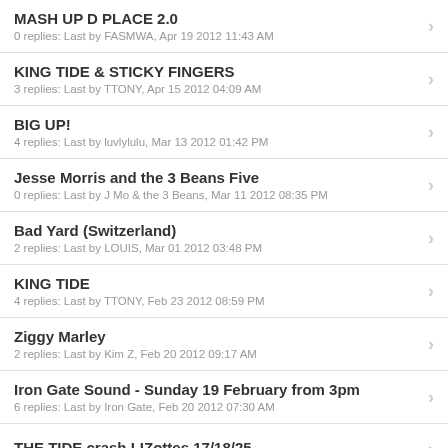MASH UP D PLACE 2.0
0 replies: Last by FASMWA, Apr 19 2012 11:43 AM
KING TIDE & STICKY FINGERS
3 replies: Last by TTONY, Apr 15 2012 04:09 AM
BIG UP!
4 replies: Last by luvlylulu, Mar 13 2012 01:42 PM
Jesse Morris and the 3 Beans Five
0 replies: Last by J Mo & the 3 Beans, Mar 11 2012 08:35 PM
Bad Yard (Switzerland)
2 replies: Last by LOUIS, Mar 01 2012 03:48 PM
KING TIDE
4 replies: Last by TTONY, Feb 23 2012 08:59 PM
Ziggy Marley
2 replies: Last by Kim Z, Feb 20 2012 09:17 AM
Iron Gate Sound - Sunday 19 February from 3pm
6 replies: Last by Iron Gate, Feb 20 2012 07:30 AM
THE TIDE crash LIZottes 17/18/25